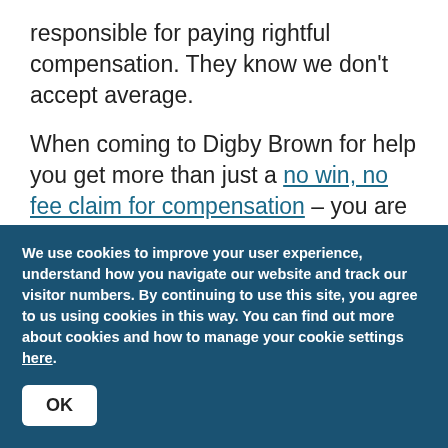responsible for paying rightful compensation. They know we don't accept average.
When coming to Digby Brown for help you get more than just a no win, no fee claim for compensation – you are provided with a thorough and complete bespoke care package tailored to suit your individual
We use cookies to improve your user experience, understand how you navigate our website and track our visitor numbers. By continuing to use this site, you agree to us using cookies in this way. You can find out more about cookies and how to manage your cookie settings here.